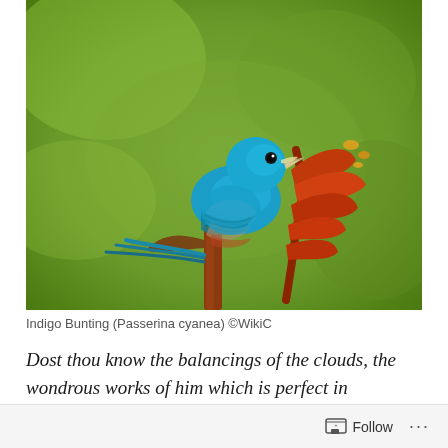[Figure (photo): A bright blue Indigo Bunting bird perched on a red-orange plant stem or flower, with a blurred olive-green background.]
Indigo Bunting (Passerina cyanea) ©WikiC
Dost thou know the balancings of the clouds, the wondrous works of him which is perfect in knowledge? (Job 37:16 KJV)
Follow ...